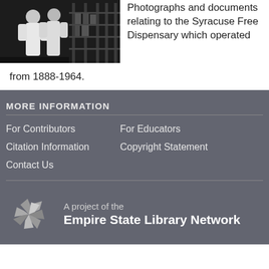[Figure (photo): Black and white photograph showing people in white clothing near industrial machinery or shelving]
Photographs and documents relating to the Syracuse Free Dispensary which operated from 1888-1964.
MORE INFORMATION
For Contributors
For Educators
Citation Information
Copyright Statement
Contact Us
[Figure (logo): Empire State Library Network pinwheel logo]
A project of the Empire State Library Network